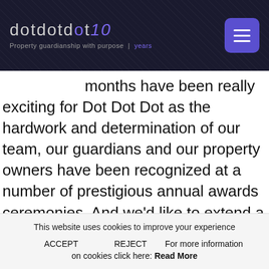[Figure (logo): Dot Dot Dot property guardianship logo with '10 years' tagline on dark background with hamburger menu button]
months have been really exciting for Dot Dot Dot as the hardwork and determination of our team, our guardians and our property owners have been recognized at a number of prestigious annual awards ceremonies. And we'd like to extend a very big thank you to each and every
This website uses cookies to improve your experience
ACCEPT   REJECT   For more information on cookies click here: Read More